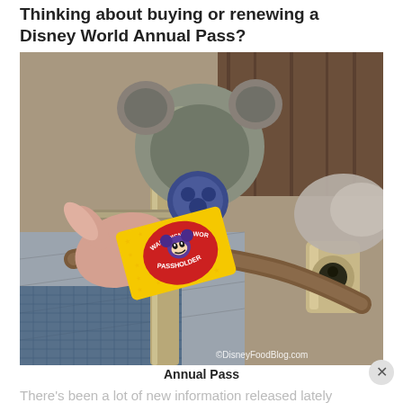Thinking about buying or renewing a Disney World Annual Pass?
[Figure (photo): A hand holding a yellow Walt Disney World Passholder annual pass card up to a Mickey Mouse-shaped turnstile entry point at a Disney theme park.]
Annual Pass
There's been a lot of new information released lately